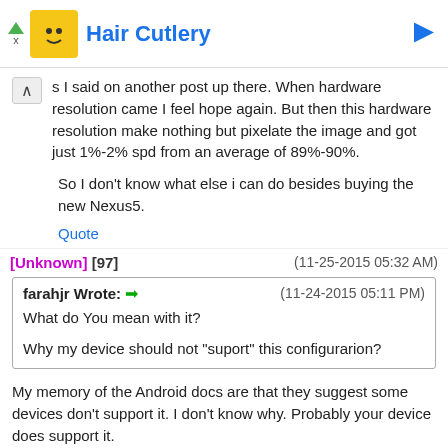[Figure (other): Advertisement banner for Hair Cuttery with logo and navigation arrows]
s I said on another post up there. When hardware resolution came I feel hope again. But then this hardware resolution make nothing but pixelate the image and got just 1%-2% spd from an average of 89%-90%.
So I don't know what else i can do besides buying the new Nexus5.
Quote
[Unknown] [97]   (11-25-2015 05:32 AM)
| farahjr Wrote: ➡ | (11-24-2015 05:11 PM) |
| What do You mean with it? |  |
| Why my device should not "suport" this configurarion? |  |
My memory of the Android docs are that they suggest some devices don't support it. I don't know why. Probably your device does support it.
| farahjr Wrote: ➡ | (11-24-2015 05:11 PM) |
| THe most probably thing is that this game uses a mechanic not ... |  |